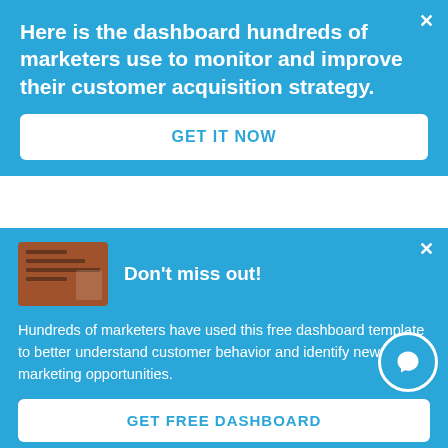Here is the dashboard hundreds of marketers use to monitor and improve their customer acquisition strategy.
GET IT NOW
to drive users to your app or vice versa.
Don't miss out!
[Figure (screenshot): Small thumbnail image of a dashboard template with an orange/brown background and data rows]
Hundreds of marketers have used this free dashboard template to better understand customer behavior and identify new marketing opportunities.
GET FREE DASHBOARD